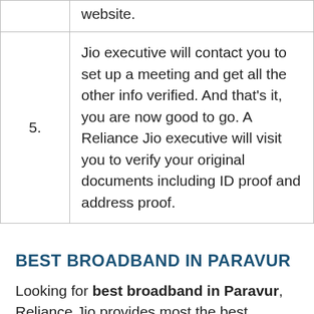|  | website. |
| 5. | Jio executive will contact you to set up a meeting and get all the other info verified. And that’s it, you are now good to go. A Reliance Jio executive will visit you to verify your original documents including ID proof and address proof. |
BEST BROADBAND IN PARAVUR
Looking for best broadband in Paravur, Reliance Jio provides most the best services in Paravur with high speed, with